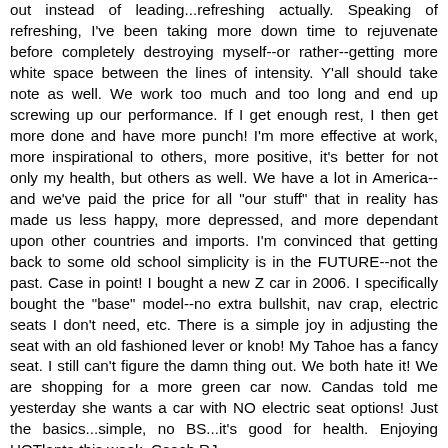out instead of leading...refreshing actually. Speaking of refreshing, I've been taking more down time to rejuvenate before completely destroying myself--or rather--getting more white space between the lines of intensity. Y'all should take note as well. We work too much and too long and end up screwing up our performance. If I get enough rest, I then get more done and have more punch! I'm more effective at work, more inspirational to others, more positive, it's better for not only my health, but others as well. We have a lot in America--and we've paid the price for all "our stuff" that in reality has made us less happy, more depressed, and more dependant upon other countries and imports. I'm convinced that getting back to some old school simplicity is in the FUTURE--not the past. Case in point! I bought a new Z car in 2006. I specifically bought the "base" model--no extra bullshit, nav crap, electric seats I don't need, etc. There is a simple joy in adjusting the seat with an old fashioned lever or knob! My Tahoe has a fancy seat. I still can't figure the damn thing out. We both hate it! We are shopping for a more green car now. Candas told me yesterday she wants a car with NO electric seat options! Just the basics...simple, no BS...it's good for health. Enjoying HOTlanta this week, Coach RJ